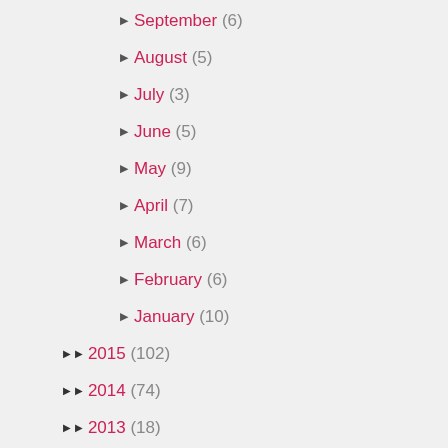September (6)
August (5)
July (3)
June (5)
May (9)
April (7)
March (6)
February (6)
January (10)
2015 (102)
2014 (74)
2013 (18)